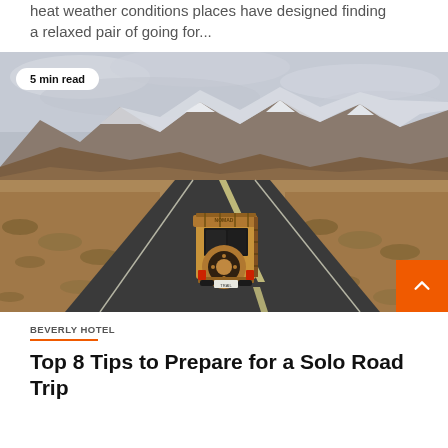heat weather conditions places have designed finding a relaxed pair of going for...
[Figure (photo): Rear view of a vintage gold/tan SUV driving down a straight road toward snow-capped mountains under cloudy skies, desert landscape on either side. A '5 min read' badge is overlaid in the top-left corner.]
5 min read
BEVERLY HOTEL
Top 8 Tips to Prepare for a Solo Road Trip